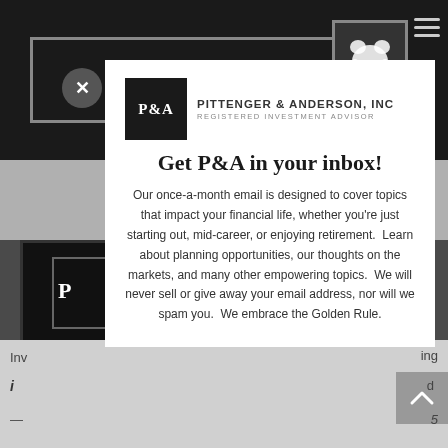[Figure (screenshot): Screenshot of Pittenger & Anderson, Inc. website with a modal popup overlay. Background shows the website header with dark bar, logo, and navigation. A white modal dialog is overlaid on top showing the P&A logo, a headline 'Get P&A in your inbox!' and descriptive text about a monthly email newsletter.]
Get P&A in your inbox!
Our once-a-month email is designed to cover topics that impact your financial life, whether you're just starting out, mid-career, or enjoying retirement.  Learn about planning opportunities, our thoughts on the markets, and many other empowering topics.  We will never sell or give away your email address, nor will we spam you.  We embrace the Golden Rule.